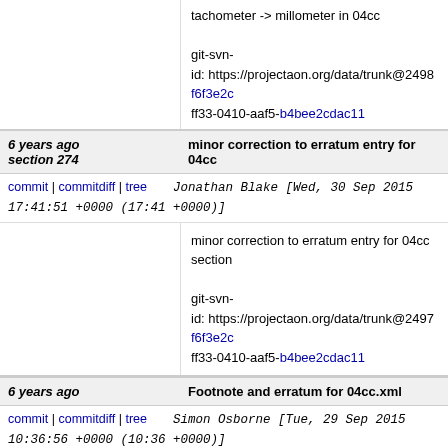tachometer -> millometer in 04cc

git-svn-id: https://projectaon.org/data/trunk@2498 f6f3e2c... ff33-0410-aaf5-b4bee2cdac11
6 years ago  section 274    minor correction to erratum entry for 04cc
commit | commitdiff | tree    Jonathan Blake [Wed, 30 Sep 2015 17:41:51 +0000 (17:41 +0000)]
minor correction to erratum entry for 04cc section

git-svn-id: https://projectaon.org/data/trunk@2497 f6f3e2c... ff33-0410-aaf5-b4bee2cdac11
6 years ago    Footnote and erratum for 04cc.xml
commit | commitdiff | tree    Simon Osborne [Tue, 29 Sep 2015 10:36:56 +0000 (10:36 +0000)]
Footnote and erratum for 04cc.xml

git-svn-id: https://projectaon.org/data/trunk@2496 f6f3e2c... ff33-0410-aaf5-b4bee2cdac11